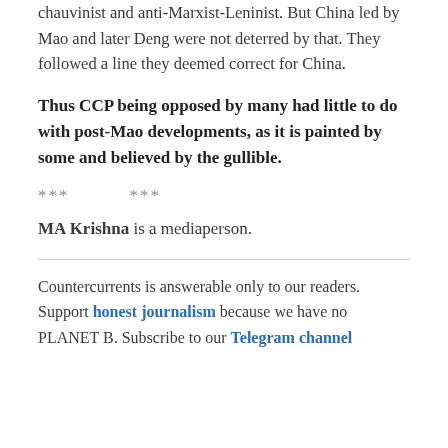chauvinist and anti-Marxist-Leninist. But China led by Mao and later Deng were not deterred by that. They followed a line they deemed correct for China.
Thus CCP being opposed by many had little to do with post-Mao developments, as it is painted by some and believed by the gullible.
*** ***
MA Krishna is a mediaperson.
Countercurrents is answerable only to our readers. Support honest journalism because we have no PLANET B. Subscribe to our Telegram channel